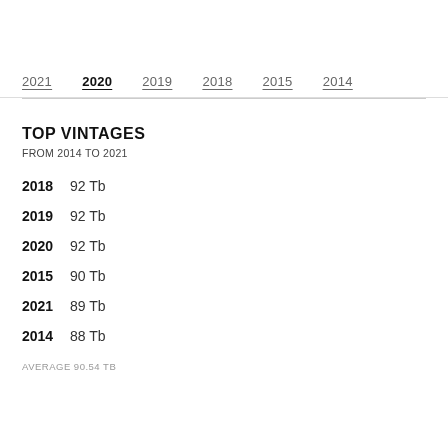2021  2020  2019  2018  2015  2014
TOP VINTAGES
FROM 2014 TO 2021
2018  92 Tb
2019  92 Tb
2020  92 Tb
2015  90 Tb
2021  89 Tb
2014  88 Tb
AVERAGE 90.54 TB